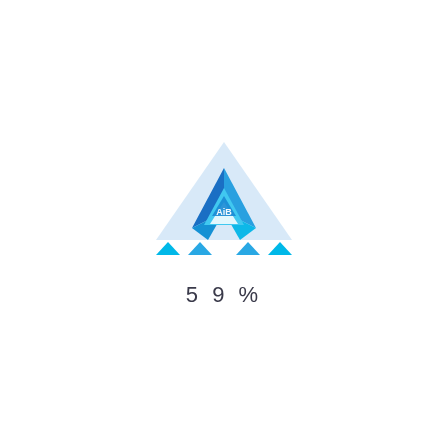[Figure (logo): Stylized triangular logo composed of blue geometric facets forming a mountain/arrow shape with small cyan triangle accents at the base and a small white emblem in the center]
59%